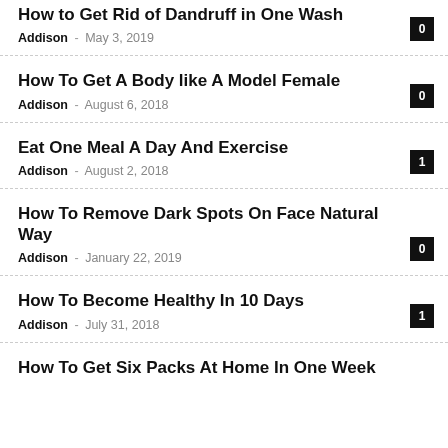How to Get Rid of Dandruff in One Wash — Addison, May 3, 2019, comments: 0
How To Get A Body like A Model Female — Addison, August 6, 2018, comments: 0
Eat One Meal A Day And Exercise — Addison, August 2, 2018, comments: 1
How To Remove Dark Spots On Face Natural Way — Addison, January 22, 2019, comments: 0
How To Become Healthy In 10 Days — Addison, July 31, 2018, comments: 1
How To Get Six Packs At Home In One Week